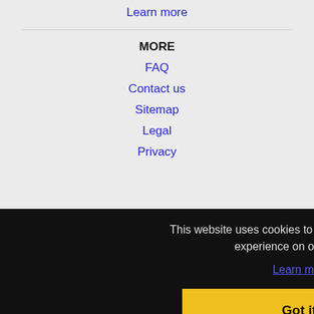Learn more
MORE
FAQ
Contact us
Sitemap
Legal
Privacy
This website uses cookies to ensure you get the best experience on our website.
Learn more
Got it!
MISSOURI CITIES
Independence, MO Jobs
Kansas City, KS Jobs
Lee's Summit, MO Jobs
Generic, KS Jobs
Manhattan, KS Jobs
Olathe, KS Jobs